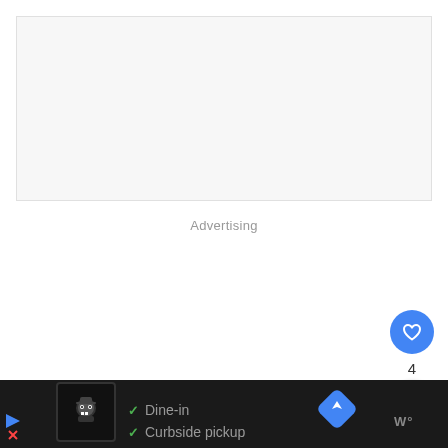[Figure (other): Light gray advertisement placeholder rectangle]
Advertising
[Figure (other): Blue circular heart/favorite button]
4
[Figure (other): White circular share button with share icon]
[Figure (other): Bottom navigation bar with restaurant ad showing Dine-in and Curbside pickup options, a navigation diamond button, and Waze logo]